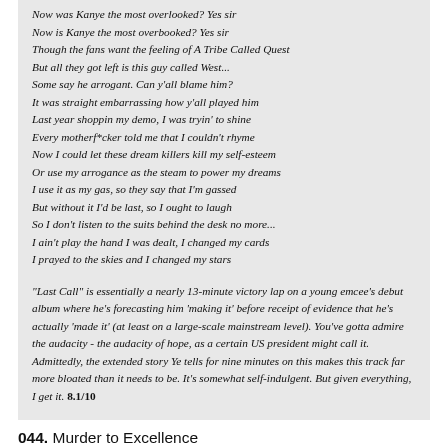Now was Kanye the most overlooked? Yes sir
Now is Kanye the most overbooked? Yes sir
Though the fans want the feeling of A Tribe Called Quest
But all they got left is this guy called West...
Some say he arrogant. Can y'all blame him?
It was straight embarrassing how y'all played him
Last year shoppin my demo, I was tryin' to shine
Every motherf*cker told me that I couldn't rhyme
Now I could let these dream killers kill my self-esteem
Or use my arrogance as the steam to power my dreams
I use it as my gas, so they say that I'm gassed
But without it I'd be last, so I ought to laugh
So I don't listen to the suits behind the desk no more...
I ain't play the hand I was dealt, I changed my cards
I prayed to the skies and I changed my stars
"Last Call" is essentially a nearly 13-minute victory lap on a young emcee's debut album where he's forecasting him 'making it' before receipt of evidence that he's actually 'made it' (at least on a large-scale mainstream level). You've gotta admire the audacity - the audacity of hope, as a certain US president might call it. Admittedly, the extended story Ye tells for nine minutes on this makes this track far more bloated than it needs to be. It's somewhat self-indulgent. But given everything, I get it. 8.1/10
044. Murder to Excellence
[Figure (photo): Golden/ornate decorative image, bottom of page, partially visible]